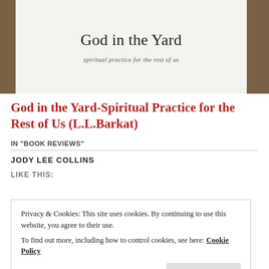[Figure (photo): Photo of a book titled 'God in the Yard' with subtitle 'spiritual practice for the rest of us', placed on a wooden surface. The book cover is white/cream.]
God in the Yard-Spiritual Practice for the Rest of Us (L.L.Barkat)
IN "BOOK REVIEWS"
JODY LEE COLLINS
LIKE THIS:
Privacy & Cookies: This site uses cookies. By continuing to use this website, you agree to their use.
To find out more, including how to control cookies, see here: Cookie Policy
Close and accept